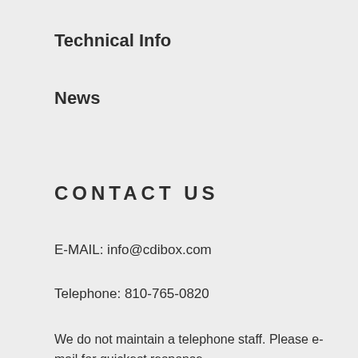Technical Info
News
CONTACT US
E-MAIL: info@cdibox.com
Telephone: 810-765-0820
We do not maintain a telephone staff. Please e-mail for quickest response.